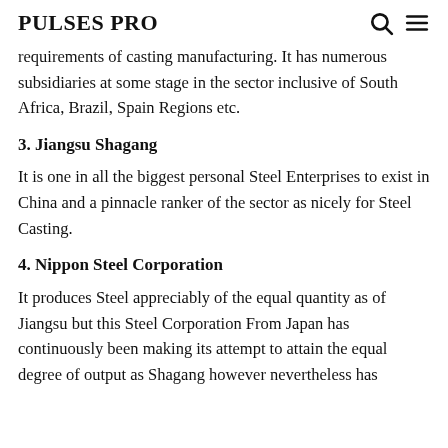PULSES PRO
requirements of casting manufacturing. It has numerous subsidiaries at some stage in the sector inclusive of South Africa, Brazil, Spain Regions etc.
3. Jiangsu Shagang
It is one in all the biggest personal Steel Enterprises to exist in China and a pinnacle ranker of the sector as nicely for Steel Casting.
4. Nippon Steel Corporation
It produces Steel appreciably of the equal quantity as of Jiangsu but this Steel Corporation From Japan has continuously been making its attempt to attain the equal degree of output as Shagang however nevertheless has